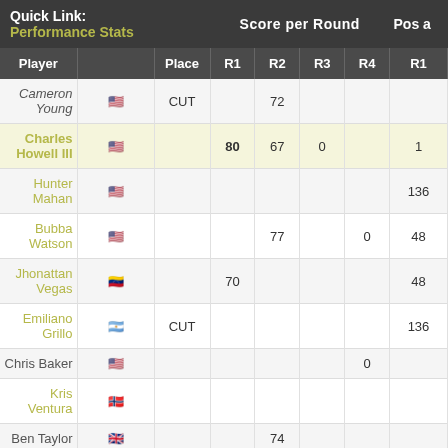| Player |  | Place | R1 | R2 | R3 | R4 | R1 |
| --- | --- | --- | --- | --- | --- | --- | --- |
| Cameron Young | 🇺🇸 | CUT |  | 72 |  |  |  |
| Charles Howell III | 🇺🇸 |  | 80 | 67 | 0 |  | 1 |
| Hunter Mahan | 🇺🇸 |  |  |  |  |  | 136 |
| Bubba Watson | 🇺🇸 |  |  | 77 |  | 0 | 48 |
| Jhonattan Vegas | 🇻🇪 |  | 70 |  |  |  | 48 |
| Emiliano Grillo | 🇦🇷 | CUT |  |  |  |  | 136 |
| Chris Baker | 🇺🇸 |  |  |  |  | 0 |  |
| Kris Ventura | 🇳🇴 |  |  |  |  |  |  |
| Ben Taylor | 🇬🇧 |  |  | 74 |  |  |  |
| Cameron Champ | 🇺🇸 |  | 68 |  |  |  |  |
| Aaron Baddeley | 🇺🇸 |  | 75 |  | 0 | 0 |  |
| Scott Harrington | 🇺🇸 |  | 74 |  | 0 |  | 119 |
| Jason Day | 🇦🇺 |  | 76 |  |  |  | 136 |